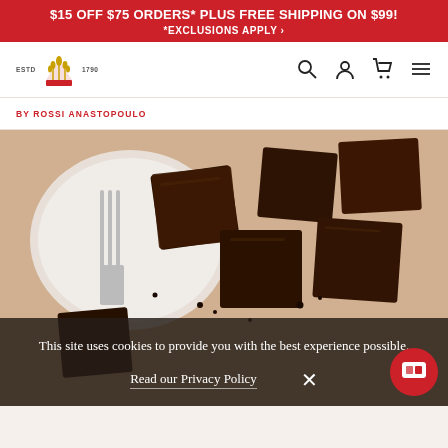$15 OFF $75 ORDERS* PLUS FREE SHIPPING ON $99! *EXCLUSIONS APPLY
[Figure (logo): King Arthur Baking Company logo — wheat crown emblem with ESTD 1790 text]
BY ROSSI ANASTOPOULO
[Figure (photo): Overhead shot of chocolate brownies cut into squares scattered on a white surface with a fork on a white plate]
This site uses cookies to provide you with the best experience possible.
Read our Privacy Policy
[Figure (other): Cookie consent overlay with close X button and chat widget button]